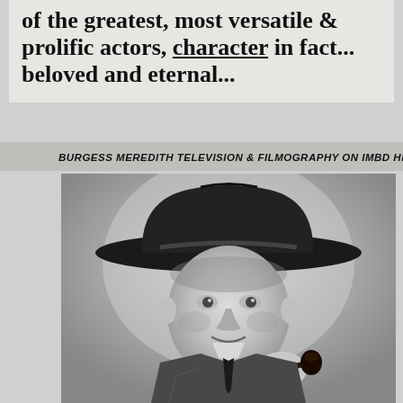of the greatest, most versatile & prolific actors, character in fact... beloved and eternal...
BURGESS MEREDITH TELEVISION & FILMOGRAPHY ON IMBD HERE
[Figure (photo): Black and white portrait photograph of Burgess Meredith wearing a dark fedora hat and tweed jacket, holding a pipe, looking directly at the camera with a slight smile]